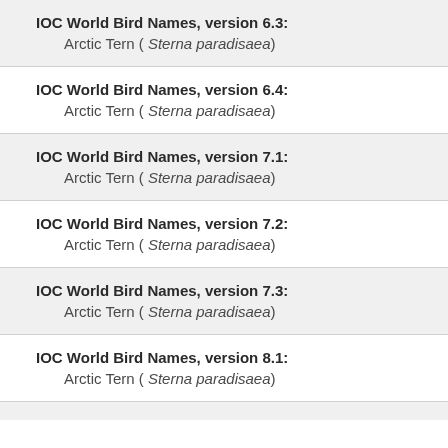IOC World Bird Names, version 6.3:
Arctic Tern ( Sterna paradisaea)
IOC World Bird Names, version 6.4:
Arctic Tern ( Sterna paradisaea)
IOC World Bird Names, version 7.1:
Arctic Tern ( Sterna paradisaea)
IOC World Bird Names, version 7.2:
Arctic Tern ( Sterna paradisaea)
IOC World Bird Names, version 7.3:
Arctic Tern ( Sterna paradisaea)
IOC World Bird Names, version 8.1:
Arctic Tern ( Sterna paradisaea)